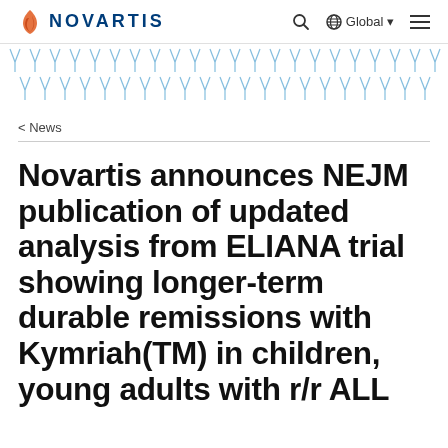NOVARTIS — Global navigation header
[Figure (illustration): Decorative repeating geometric pattern strip in blue/teal colors, showing rows of Y-shaped and diamond-like molecular or abstract shapes]
< News
Novartis announces NEJM publication of updated analysis from ELIANA trial showing longer-term durable remissions with Kymriah(TM) in children, young adults with r/r ALL